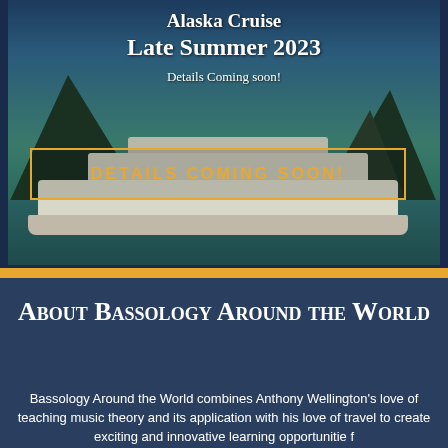[Figure (photo): Aerial or scenic view of an Alaska cruise ship sailing through a fjord with mountains in the background, overlaid with text about an Alaska Cruise Late Summer 2023 event]
Alaska Cruise
Late Summer 2023
Details Coming soon!
DETAILS COMING SOON!
About Bassology Around the World
Bassology Around the World combines Anthony Wellington's love of teaching music theory and its application with his love of travel to create exciting and innovative learning opportunities f...